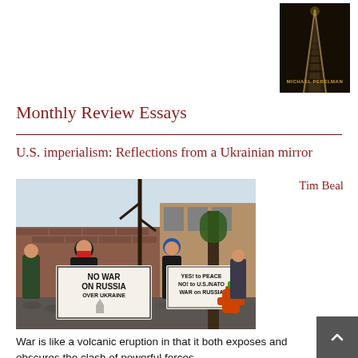[Figure (photo): Book cover by Michael Perelman with dark background showing railroad tracks converging to a point]
Monthly Review Essays
U.S. imperialism: Reflections from a Ukrainian mirror
Tim Beal
[Figure (photo): Outdoor protest scene with people holding signs reading 'NO WAR ON RUSSIA OVER UKRAINE' and 'YES! to PEACE NO! to U.S./NATO WAR on RUSSIA', fire hydrant visible, cobblestone street]
War is like a volcanic eruption in that it both exposes and obscures the clash of powerful forces.